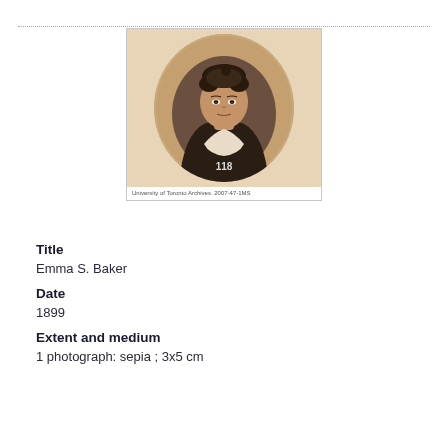[Figure (photo): Sepia oval portrait photograph of Emma S. Baker, a woman with dark upswept hair, wearing a dark jacket and lace blouse. Number '118' visible at bottom of oval. Caption reads: University of Toronto Archives. 2007-47-1MS]
University of Toronto Archives. 2007-47-1MS
Title
Emma S. Baker
Date
1899
Extent and medium
1 photograph: sepia ; 3x5 cm